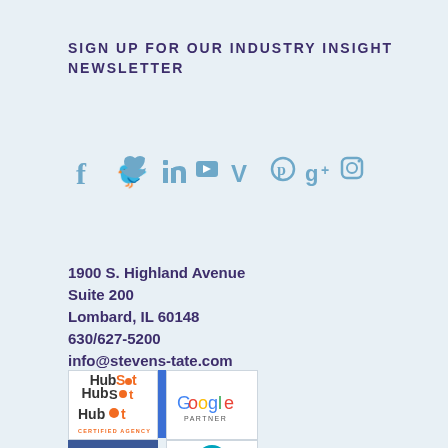SIGN UP FOR OUR INDUSTRY INSIGHT NEWSLETTER
[Figure (infographic): Row of social media icons: Facebook, Twitter, LinkedIn, YouTube, Vimeo, Pinterest, Google+, Instagram — rendered in steel blue]
1900 S. Highland Avenue
Suite 200
Lombard, IL 60148
630/627-5200
info@stevens-tate.com
Directions
[Figure (logo): HubSpot Certified Agency badge and Google Partner badge side by side with a blue vertical divider bar]
[Figure (logo): Facebook logo badge (blue background, white f) and a teal circular HubSpot-style icon badge]